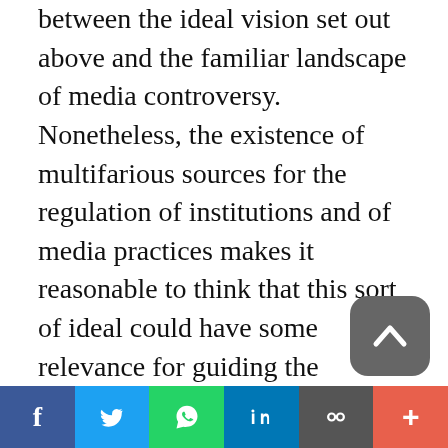between the ideal vision set out above and the familiar landscape of media controversy. Nonetheless, the existence of multifarious sources for the regulation of institutions and of media practices makes it reasonable to think that this sort of ideal could have some relevance for guiding the evaluation and transformation of contemporary regimes. Formal regulation through media law and informal regulation through media analysis can both serve as powerful tools for steering the actions of press organizations. The former determines the possible economic
f  🐦  ⊕  in  ∞  +